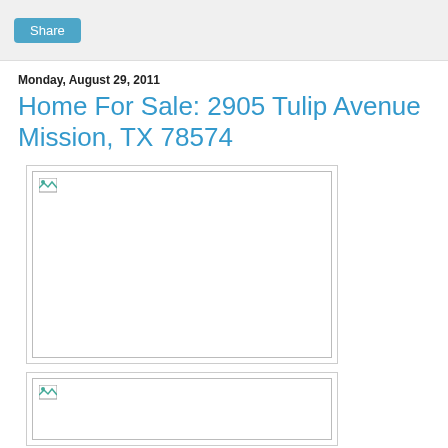Share
Monday, August 29, 2011
Home For Sale: 2905 Tulip Avenue Mission, TX 78574
[Figure (photo): Broken/unloaded image placeholder - first photo of property]
[Figure (photo): Broken/unloaded image placeholder - second photo of property]